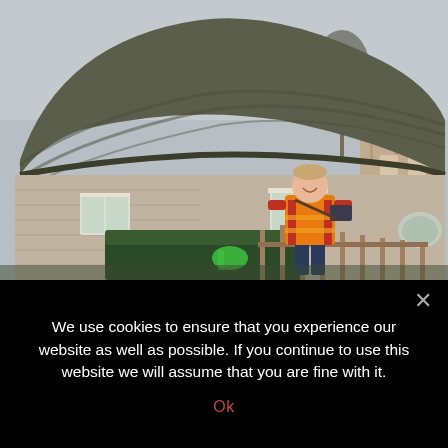[Figure (photo): A man wearing an orange high-visibility vest and carrying equipment stands smiling in front of a traditional English thatched-roof cottage. The cottage has stone and brick walls with white-framed windows. There are trimmed hedges and a wooden fence in the foreground. Bare trees are visible in the background against a grey sky.]
We use cookies to ensure that you experience our website as well as possible. If you continue to use this website we will assume that you are fine with it.
Ok